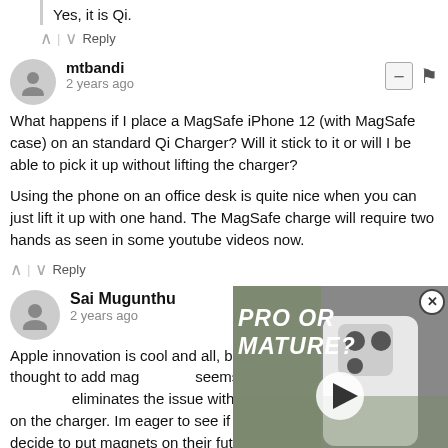Yes, it is Qi.
^ | v Reply
mtbandi
2 years ago
What happens if I place a MagSafe iPhone 12 (with MagSafe case) on an standard Qi Charger? Will it stick to it or will I be able to pick it up without lifting the charger?
Using the phone on an office desk is quite nice when you can just lift it up with one hand. The MagSafe charge will require two hands as seen in some youtube videos now.
^ | v Reply
Sai Mugunthu
2 years ago
Apple innovation is cool and all, but no one else until now thought to add mag... seems to work with any device th... eliminates the issue with placing your phone incorrectly on the charger. Im eager to see if Samsung and others also decide to put magnets on their future wireless chargers.
[Figure (screenshot): Video thumbnail overlay showing a white smartphone back with text PRO OR MATURE? in bold italic white, with a play button circle in the center]